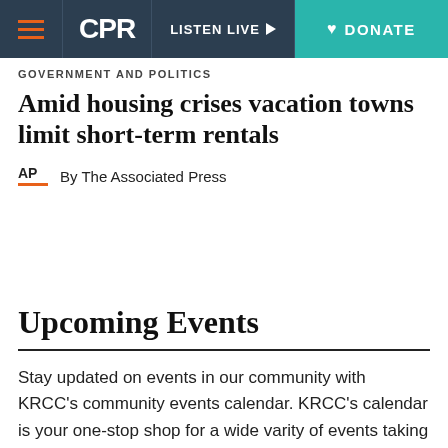CPR | LISTEN LIVE | DONATE
GOVERNMENT AND POLITICS
Amid housing crises vacation towns limit short-term rentals
By The Associated Press
Upcoming Events
Stay updated on events in our community with KRCC's community events calendar. KRCC's calendar is your one-stop shop for a wide varity of events taking place here in Southern Colorado. Click here to see what's next!